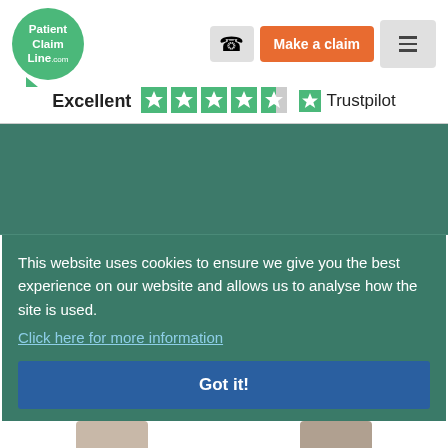[Figure (logo): Patient Claim Line .com logo in green speech bubble circle]
Excellent  Trustpilot
This website uses cookies to ensure we give you the best experience on our website and allows us to analyse how the site is used.
Click here for more information
Got it!